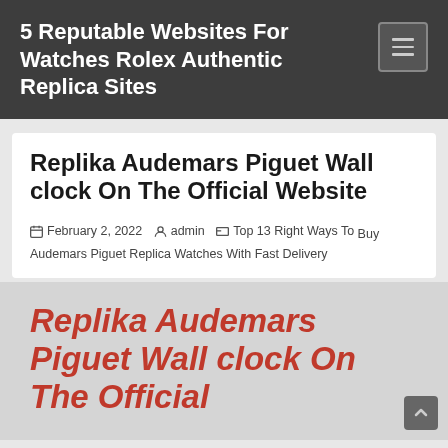5 Reputable Websites For Watches Rolex Authentic Replica Sites
Replika Audemars Piguet Wall clock On The Official Website
February 2, 2022  admin  Top 13 Right Ways To Buy Audemars Piguet Replica Watches With Fast Delivery
Replika Audemars Piguet Wall clock On The Official